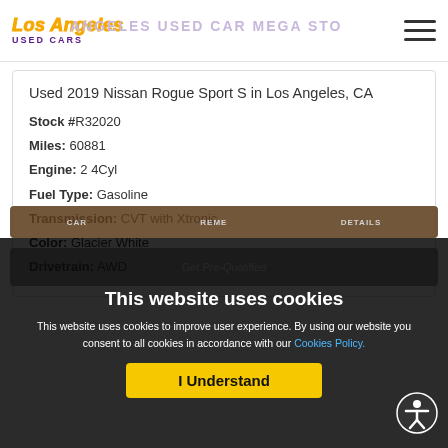Los Angeles Used Cars — LOS ANGELES USED CAR MEGA STO
Used 2019 Nissan Rogue Sport S in Los Angeles, CA
Stock #R32020
Miles: 60881
Engine: 2 4Cyl
Fuel Type: Gasoline
Transmission: CVT with Xtronic
Color: Glacier White
Drivetrain: AWD
This website uses cookies
This website uses cookies to improve user experience. By using our website you consent to all cookies in accordance with our Cookies Policy.
I Understand